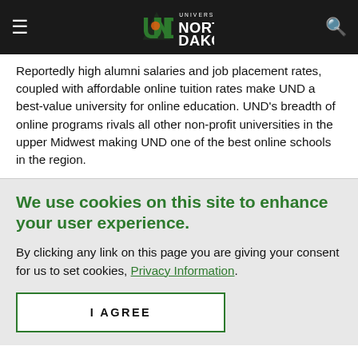University of North Dakota
Reportedly high alumni salaries and job placement rates, coupled with affordable online tuition rates make UND a best-value university for online education. UND's breadth of online programs rivals all other non-profit universities in the upper Midwest making UND one of the best online schools in the region.
We use cookies on this site to enhance your user experience.
By clicking any link on this page you are giving your consent for us to set cookies, Privacy Information.
I AGREE